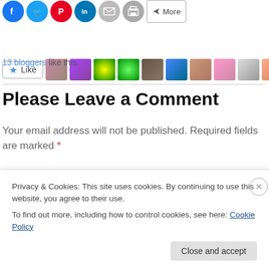[Figure (screenshot): Social media share icons row: Facebook, Twitter, Pinterest, LinkedIn, Email, Print, More]
[Figure (photo): Like button followed by 11 blogger avatar thumbnails]
13 bloggers like this.
Please Leave a Comment
Your email address will not be published. Required fields are marked *
Comment *
Privacy & Cookies: This site uses cookies. By continuing to use this website, you agree to their use.
To find out more, including how to control cookies, see here: Cookie Policy